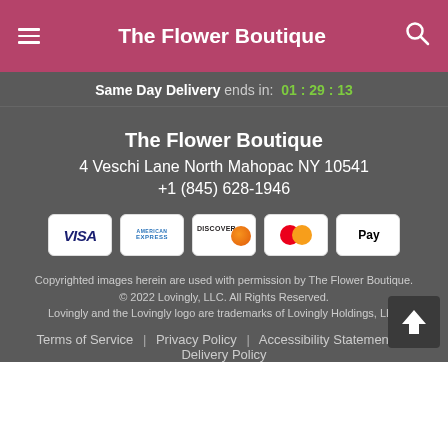The Flower Boutique
Same Day Delivery ends in: 01 : 29 : 13
The Flower Boutique
4 Veschi Lane North Mahopac NY 10541
+1 (845) 628-1946
[Figure (infographic): Payment method icons: VISA, American Express, Discover, Mastercard, Apple Pay]
Copyrighted images herein are used with permission by The Flower Boutique.
© 2022 Lovingly, LLC. All Rights Reserved.
Lovingly and the Lovingly logo are trademarks of Lovingly Holdings, LLC
Terms of Service | Privacy Policy | Accessibility Statement | Delivery Policy